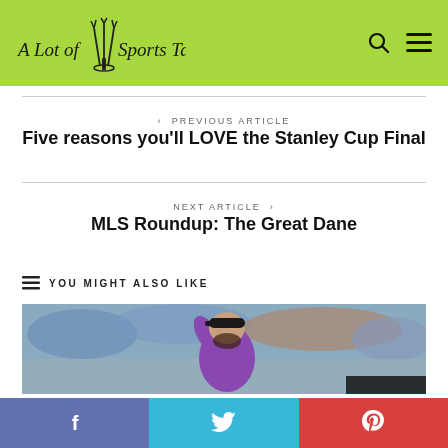A Lot of Sports Talk
< PREVIOUS ARTICLE
Five reasons you'll LOVE the Stanley Cup Final
NEXT ARTICLE >
MLS Roundup: The Great Dane
YOU MIGHT ALSO LIKE
[Figure (photo): Baseball player in purple uniform with black cap raising hand, crowd in background]
f  Twitter bird  Pinterest logo